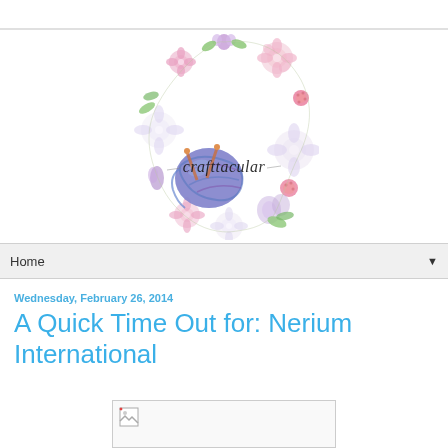[Figure (logo): Crafttacular blog logo: a decorative floral wreath with pink, purple, and green watercolor flowers surrounding a blue and purple yarn ball, with cursive 'crafttacular' text in the center]
Home ▼
Wednesday, February 26, 2014
A Quick Time Out for: Nerium International
[Figure (photo): Broken image placeholder]